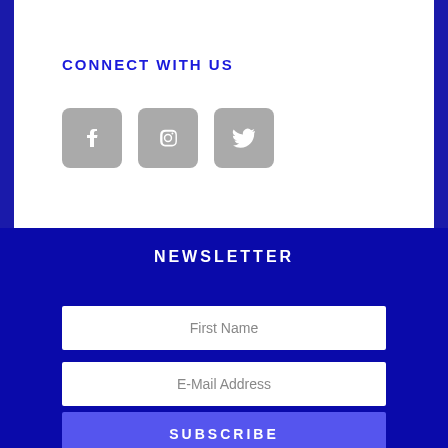CONNECT WITH US
[Figure (infographic): Three social media icon buttons with grey rounded square backgrounds: Facebook (f), Instagram (camera icon), Twitter (bird icon)]
NEWSLETTER
First Name
E-Mail Address
SUBSCRIBE